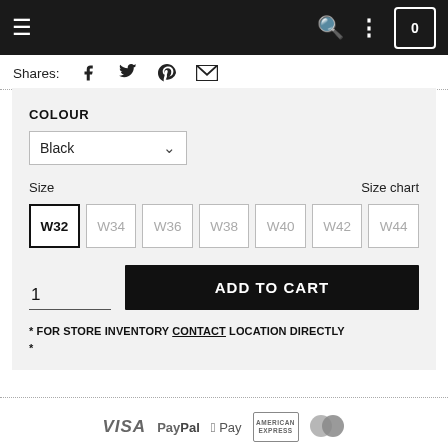Navigation bar with hamburger menu, search, options and cart (0)
Shares: [Facebook] [Twitter] [Pinterest] [Email]
COLOUR
Black (dropdown)
Size   Size chart
W32 (selected) W34 W36 W38 W40 W42 W44
1  ADD TO CART
* FOR STORE INVENTORY CONTACT LOCATION DIRECTLY *
[Figure (other): Payment method logos: VISA, PayPal, Apple Pay, American Express, Mastercard]